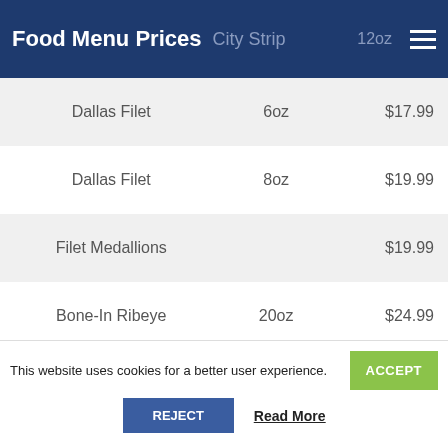Food Menu Prices  ...City Strip  12oz  $18...
| Item | Size | Price |
| --- | --- | --- |
| Dallas Filet | 6oz | $17.99 |
| Dallas Filet | 8oz | $19.99 |
| Filet Medallions |  | $19.99 |
| Bone-In Ribeye | 20oz | $24.99 |
| Porterhouse T-Bone | 23oz | $26.99 |
| Road Kill |  | $9.99 |
| Steak Cabob |  | $10.99 |
| Prime Rib | 10oz | $16.99 |
| Prime Rib | 12oz | $18.99 |
This website uses cookies for a better user experience.
ACCEPT
REJECT
Read More